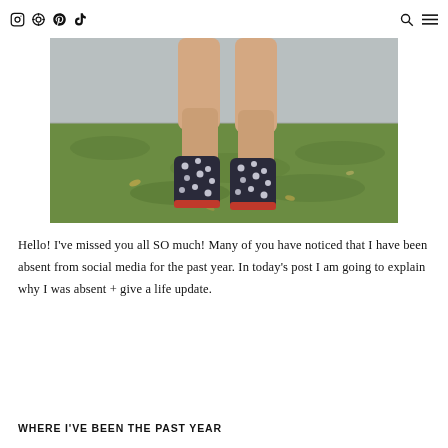[social icons: Instagram, LikeToKnowIt, Pinterest, TikTok] [search icon] [menu icon]
[Figure (photo): Cropped photo showing a person's legs wearing patterned ankle boots with red soles, standing on green grass with a concrete wall in the background.]
Hello! I've missed you all SO much! Many of you have noticed that I have been absent from social media for the past year. In today's post I am going to explain why I was absent + give a life update.
WHERE I'VE BEEN THE PAST YEAR